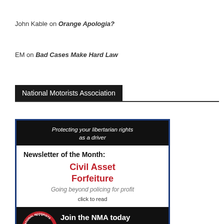John Kable on Orange Apologia?
EM on Bad Cases Make Hard Law
National Motorists Association
[Figure (infographic): National Motorists Association advertisement with dark banner reading 'Protecting your libertarian rights as a driver', newsletter of the month 'Civil Asset Forfeiture - Going beyond policing for profit', click to read, and 'Join the NMA today' with logo and code EPAUTOS for special Eric Peters discount, www.motorists.org]